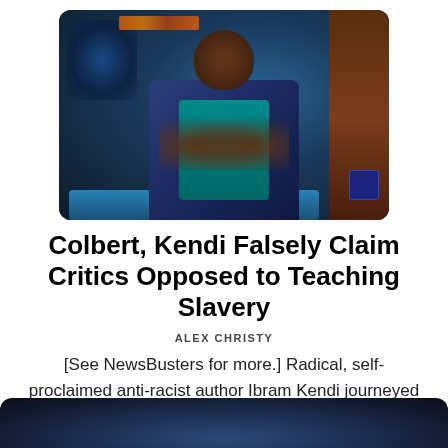[Figure (photo): A man in a blue suit jacket and teal shirt sitting on a couch gesturing with his hands, appearing to be on The Late Show with Stephen Colbert on CBS]
Colbert, Kendi Falsely Claim Critics Opposed to Teaching Slavery
ALEX CHRISTY
[See NewsBusters for more.] Radical, self-proclaimed anti-racist author Ibram Kendi journeyed over the The Late Show on CBS for Stephen Colbert's...
[Figure (photo): Partial bottom photo, cropped]